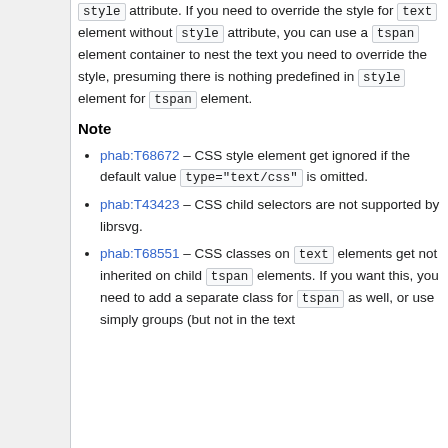style attribute. If you need to override the style for text element without style attribute, you can use a tspan element container to nest the text you need to override the style, presuming there is nothing predefined in style element for tspan element.
Note
phab:T68672 – CSS style element get ignored if the default value type="text/css" is omitted.
phab:T43423 – CSS child selectors are not supported by librsvg.
phab:T68551 – CSS classes on text elements get not inherited on child tspan elements. If you want this, you need to add a separate class for tspan as well, or use simply groups (but not in the text